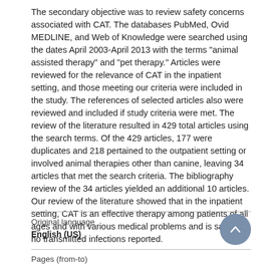The secondary objective was to review safety concerns associated with CAT. The databases PubMed, Ovid MEDLINE, and Web of Knowledge were searched using the dates April 2003-April 2013 with the terms "animal assisted therapy" and "pet therapy." Articles were reviewed for the relevance of CAT in the inpatient setting, and those meeting our criteria were included in the study. The references of selected articles also were reviewed and included if study criteria were met. The review of the literature resulted in 429 total articles using the search terms. Of the 429 articles, 177 were duplicates and 218 pertained to the outpatient setting or involved animal therapies other than canine, leaving 34 articles that met the search criteria. The bibliography review of the 34 articles yielded an additional 10 articles. Our review of the literature showed that in the inpatient setting, CAT is an effective therapy among patients of all ages and with various medical problems and is safe, with no transmitted infections reported.
Original language
English (US)
Pages (from-to)